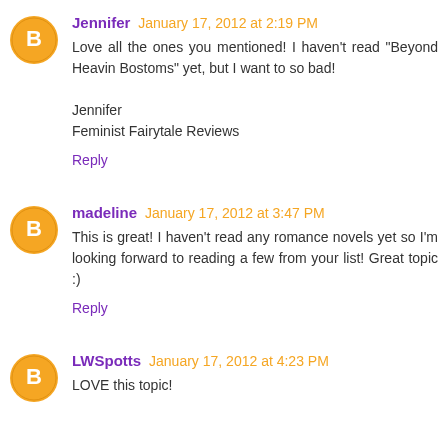Jennifer January 17, 2012 at 2:19 PM
Love all the ones you mentioned! I haven't read "Beyond Heavin Bostoms" yet, but I want to so bad!

Jennifer
Feminist Fairytale Reviews
Reply
madeline January 17, 2012 at 3:47 PM
This is great! I haven't read any romance novels yet so I'm looking forward to reading a few from your list! Great topic :)
Reply
LWSpotts January 17, 2012 at 4:23 PM
LOVE this topic!